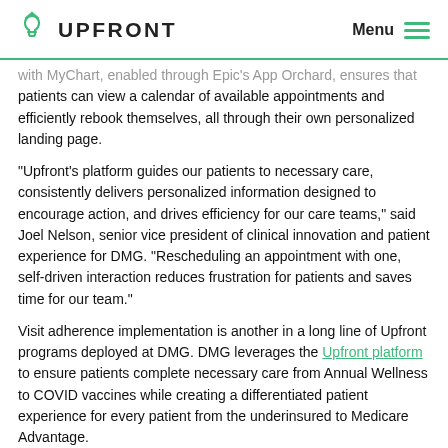UPFRONT | Menu
...with MyChart, enabled through Epic's App Orchard, ensures that patients can view a calendar of available appointments and efficiently rebook themselves, all through their own personalized landing page.
“Upfront’s platform guides our patients to necessary care, consistently delivers personalized information designed to encourage action, and drives efficiency for our care teams,” said Joel Nelson, senior vice president of clinical innovation and patient experience for DMG. “Rescheduling an appointment with one, self-driven interaction reduces frustration for patients and saves time for our team.”
Visit adherence implementation is another in a long line of Upfront programs deployed at DMG. DMG leverages the Upfront platform to ensure patients complete necessary care from Annual Wellness to COVID vaccines while creating a differentiated patient experience for every patient from the underinsured to Medicare Advantage.